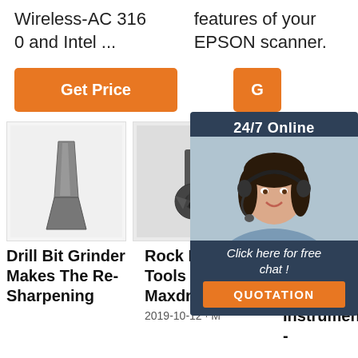Wireless-AC 316 0 and Intel ...
features of your EPSON scanner.
[Figure (other): Orange 'Get Price' button on left]
[Figure (other): Orange 'G' button (partial) and 24/7 Online chat overlay with woman wearing headset, 'Click here for free chat!' text, and orange QUOTATION button]
[Figure (photo): Drill bit grinder tool on white background]
[Figure (photo): Rock drilling tool bit on grey background]
[Figure (photo): Partial product image, grey/blurred]
Drill Bit Grinder Makes The Re-Sharpening
Rock Drilling Tools | Home | Maxdrill
2019-10-12 · M
Keyboard Instruments - Musical Instruments -